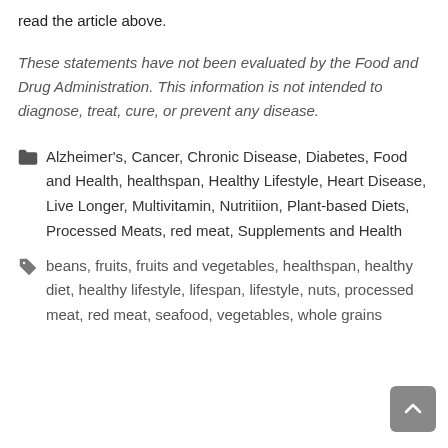read the article above.
These statements have not been evaluated by the Food and Drug Administration. This information is not intended to diagnose, treat, cure, or prevent any disease.
Alzheimer's, Cancer, Chronic Disease, Diabetes, Food and Health, healthspan, Healthy Lifestyle, Heart Disease, Live Longer, Multivitamin, Nutritiion, Plant-based Diets, Processed Meats, red meat, Supplements and Health
beans, fruits, fruits and vegetables, healthspan, healthy diet, healthy lifestyle, lifespan, lifestyle, nuts, processed meat, red meat, seafood, vegetables, whole grains